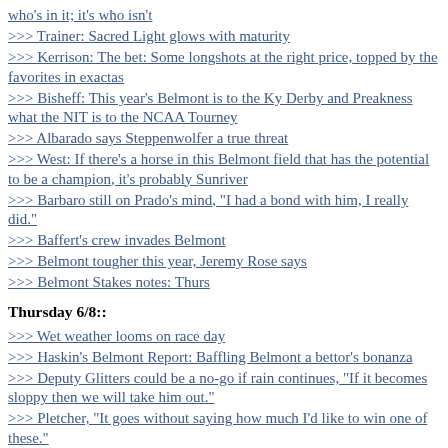>>> who's in it; it's who isn't
>>> Trainer: Sacred Light glows with maturity
>>> Kerrison: The bet: Some longshots at the right price, topped by the favorites in exactas
>>> Bisheff: This year's Belmont is to the Ky Derby and Preakness what the NIT is to the NCAA Tourney
>>> Albarado says Steppenwolfer a true threat
>>> West: If there's a horse in this Belmont field that has the potential to be a champion, it's probably Sunriver
>>> Barbaro still on Prado's mind, "I had a bond with him, I really did."
>>> Baffert's crew invades Belmont
>>> Belmont tougher this year, Jeremy Rose says
>>> Belmont Stakes notes: Thurs
Thursday 6/8::
>>> Wet weather looms on race day
>>> Haskin's Belmont Report: Baffling Belmont a bettor's bonanza
>>> Deputy Glitters could be a no-go if rain continues, "If it becomes sloppy then we will take him out."
>>> Pletcher, "It goes without saying how much I'd like to win one of these."
>>> It's not as if Todd Pletcher is the pre-2004 Boston Red Sox of the horse racing world...